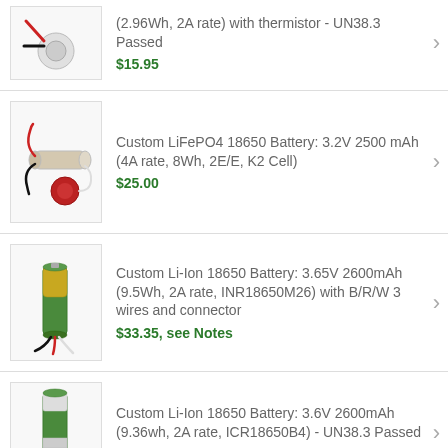(2.96Wh, 2A rate) with thermistor - UN38.3 Passed
$15.95
Custom LiFePO4 18650 Battery: 3.2V 2500 mAh (4A rate, 8Wh, 2E/E, K2 Cell)
$25.00
Custom Li-Ion 18650 Battery: 3.65V 2600mAh (9.5Wh, 2A rate, INR18650M26) with B/R/W 3 wires and connector
$33.35, see Notes
Custom Li-Ion 18650 Battery: 3.6V 2600mAh (9.36wh, 2A rate, ICR18650B4) - UN38.3 Passed
Cell Discontinued, replaced by #12449 or #3756